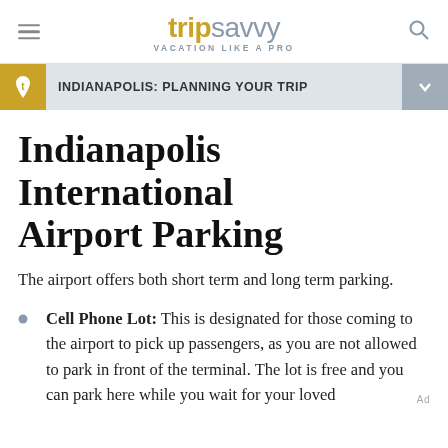tripsavvy VACATION LIKE A PRO
INDIANAPOLIS: PLANNING YOUR TRIP
Indianapolis International Airport Parking
The airport offers both short term and long term parking.
Cell Phone Lot: This is designated for those coming to the airport to pick up passengers, as you are not allowed to park in front of the terminal. The lot is free and you can park here while you wait for your loved